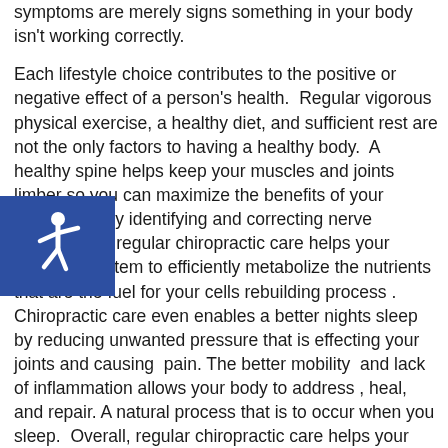symptoms are merely signs something in your body isn't working correctly.

Each lifestyle choice contributes to the positive or negative effect of a person's health. Regular vigorous physical exercise, a healthy diet, and sufficient rest are not the only factors to having a healthy body. A healthy spine helps keep your muscles and joints limber so you can maximize the benefits of your exercise. By identifying and correcting nerve interference, regular chiropractic care helps your digestive system to efficiently metabolize the nutrients that are the fuel for your cells rebuilding process . Chiropractic care even enables a better nights sleep by reducing unwanted pressure that is effecting your joints and causing pain. The better mobility and lack of inflammation allows your body to address , heal, and repair. A natural process that is to occur when you sleep. Overall, regular chiropractic care helps your body be more at ease and helps you enjoy increased
[Figure (illustration): Accessibility icon: white wheelchair symbol on dark blue square background, positioned on the left side of the page]